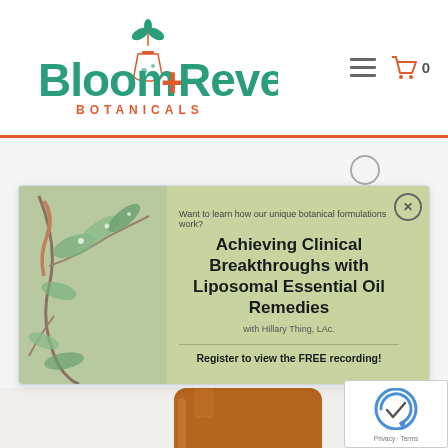[Figure (logo): Bloom+Reveal Botanicals logo with teal/green text and orange accent, flask/plant icon]
[Figure (infographic): Popup banner with eucalyptus leaf background image on left and olive-green content area on right. Text: 'Want to learn how our unique botanical formulations work?' 'Achieving Clinical Breakthroughs with Liposomal Essential Oil Remedies' 'with Hillary Thing, LAc.' 'Register to view the FREE recording!']
[Figure (photo): Product bottle photo - amber/brown glass bottle with teal hexagonal label reading 'Going Viral LIPOSOMAL ESSENTIAL OIL', partially cropped at bottom of page]
[Figure (other): reCAPTCHA badge in bottom right corner with Google reCAPTCHA icon and Privacy - Terms links]